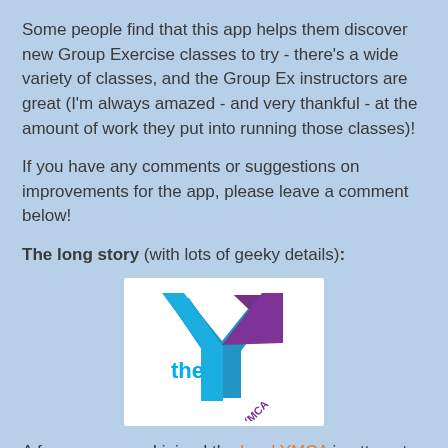Some people find that this app helps them discover new Group Exercise classes to try - there's a wide variety of classes, and the Group Ex instructors are great (I'm always amazed - and very thankful - at the amount of work they put into running those classes)!
If you have any comments or suggestions on improvements for the app, please leave a comment below!
The long story (with lots of geeky details):
[Figure (logo): YMCA logo - the letter Y in blue and purple with 'the' in blue text and 'YMCA' text on white background]
A few years ago, I joined the local YMCA in attempt to counterbalance the hours that my butt spends in my office chair. One of the "member benefits" are the various Group